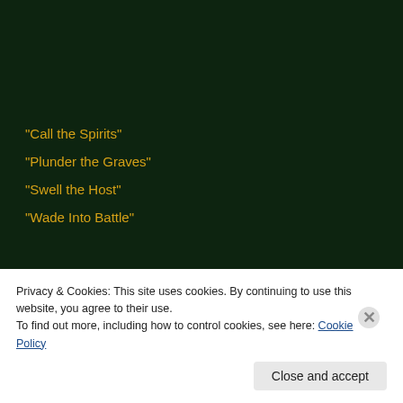“Call the Spirits”
“Plunder the Graves”
“Swell the Host”
“Wade Into Battle”
The “mosaic” image above shows you the unboxing.  It was exactly as the o as expected.  The deck box looks really cool, but is inadequate for the job the deck fully sleeved.  The pieces of paper are the guide to playing Magic, for playing conventional Magic and not commander…so that isn’t right her for new players in intro decks.  Not good for EDH.  The other is this poster.
Privacy & Cookies: This site uses cookies. By continuing to use this website, you agree to their use.
To find out more, including how to control cookies, see here: Cookie Policy